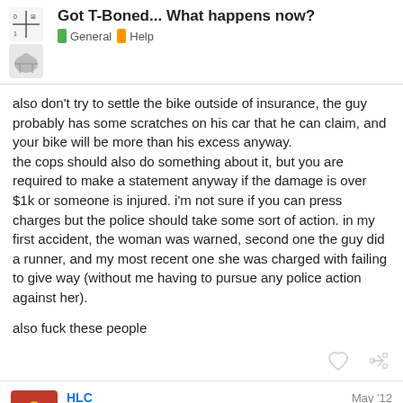Got T-Boned... What happens now? | General | Help
also don't try to settle the bike outside of insurance, the guy probably has some scratches on his car that he can claim, and your bike will be more than his excess anyway.
the cops should also do something about it, but you are required to make a statement anyway if the damage is over $1k or someone is injured. i'm not sure if you can press charges but the police should take some sort of action. in my first accident, the woman was warned, second one the guy did a runner, and my most recent one she was charged with failing to give way (without me having to pursue any police action against her).

also fuck these people
HLC
Out of fucking control
May '12
4 / 13